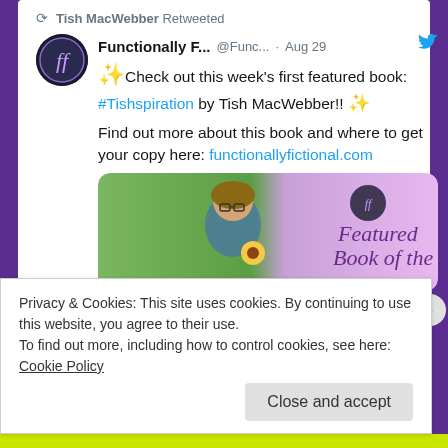Tish MacWebber Retweeted
Functionally F... @Func... · Aug 29
✨ Check out this week's first featured book: #Tishspiration by Tish MacWebber!! ✨
Find out more about this book and where to get your copy here: functionallyfictional.com
[Figure (photo): Featured Book of the Week promotional image with photo of author holding sunflower]
Privacy & Cookies: This site uses cookies. By continuing to use this website, you agree to their use. To find out more, including how to control cookies, see here: Cookie Policy
Close and accept